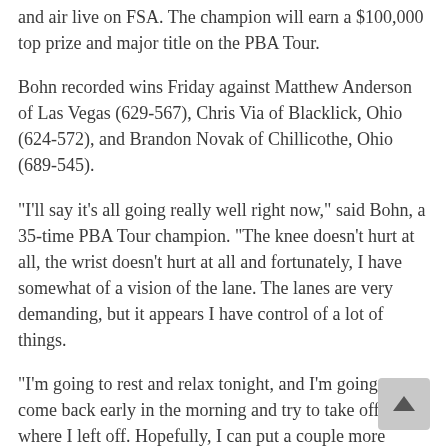and air live on FSA. The champion will earn a $100,000 top prize and major title on the PBA Tour.
Bohn recorded wins Friday against Matthew Anderson of Las Vegas (629-567), Chris Via of Blacklick, Ohio (624-572), and Brandon Novak of Chillicothe, Ohio (689-545).
"I'll say it's all going really well right now," said Bohn, a 35-time PBA Tour champion. "The knee doesn't hurt at all, the wrist doesn't hurt at all and fortunately, I have somewhat of a vision of the lane. The lanes are very demanding, but it appears I have control of a lot of things.
"I'm going to rest and relax tonight, and I'm going to come back early in the morning and try to take off right where I left off. Hopefully, I can put a couple more matches under my belt."
If Bohn is able to win his first two matches Saturday, he'll be returning to the stepladder at the Masters for the first time since 2013. He has made five championship-round appearances at the event in his career.
Bohn is no stranger to the bright lights of television, but he recently was spotted off the approach and in the stands at a made-for-TV broadcast for some of the top USBC Collegiate programs, as Justin made his TV debut competing for top ranked